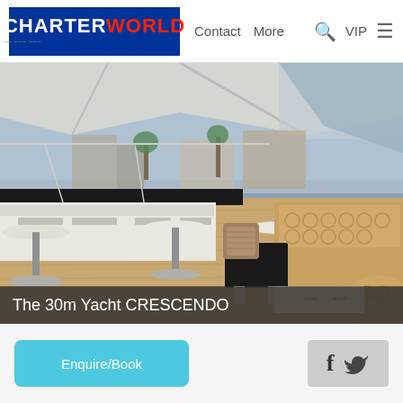CHARTERWORLD — Contact  More  Search  VIP  Menu
[Figure (photo): Interior of the 30m yacht CRESCENDO showing a flybridge deck with bar stools, bar counter, lounge seating with patterned beige/gold upholstery, small tables, and a palm-lined marina visible in the background under a canopy.]
The 30m Yacht CRESCENDO
Enquire/Book
[Figure (other): Social media icons: Facebook (f) and Twitter bird icon on grey background]